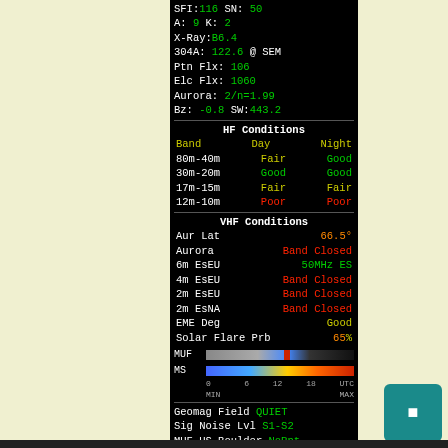SFI: 116  SN: 50
A: 9  K: 2
X-Ray: B6.4
304A: 122.6 @ SEM
Ptn Flx: 106
Elc Flx: 1060
Aurora: 2/n=1.99
Bz: -0.8 SW: 443.2
HF Conditions
| Band | Day | Night |
| --- | --- | --- |
| 80m-40m | Fair | Good |
| 30m-20m | Good | Good |
| 17m-15m | Fair | Fair |
| 12m-10m | Poor | Poor |
VHF Conditions
| Aur Lat | 66.5° |
| Aurora | Band Closed |
| 6m EsEU | 50MHz ES |
| 4m EsEU | Band Closed |
| 2m EsEU | Band Closed |
| 2m EsNA | Band Closed |
| EME Deg | Good |
| Solar Flare Prb | 65% |
[Figure (infographic): MUF and MS bar indicators with time axis 0-UTC]
Geomag Field QUIET
Sig Noise Lvl S1-S2
MUF US Boulder NoRpt
http://www.n0nbh.com
Copyright Paul L Herrman 2021